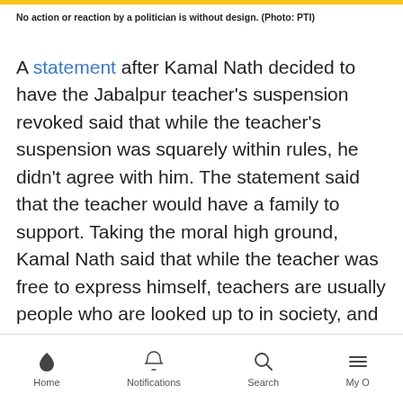No action or reaction by a politician is without design. (Photo: PTI)
A statement after Kamal Nath decided to have the Jabalpur teacher's suspension revoked said that while the teacher's suspension was squarely within rules, he didn't agree with him. The statement said that the teacher would have a family to support. Taking the moral high ground, Kamal Nath said that while the teacher was free to express himself, teachers are usually people who are looked up to in society, and should decide the boundaries of the freedom they have.
Home  Notifications  Search  My O